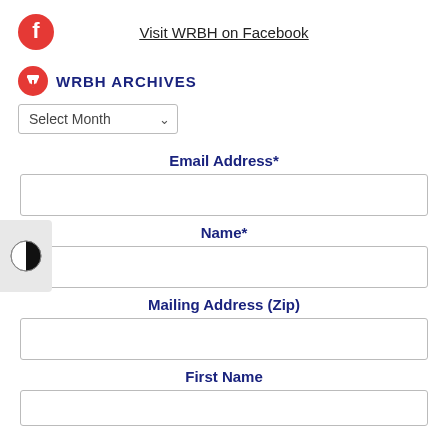[Figure (logo): Facebook icon (red circle with white F) and underlined text 'Visit WRBH on Facebook']
WRBH ARCHIVES
[Figure (other): Select Month dropdown with chevron arrow]
Email Address*
[Figure (other): Text input field for Email Address]
Name*
[Figure (other): Text input field for Name]
Mailing Address (Zip)
[Figure (other): Text input field for Mailing Address (Zip)]
First Name
[Figure (other): Text input field for First Name]